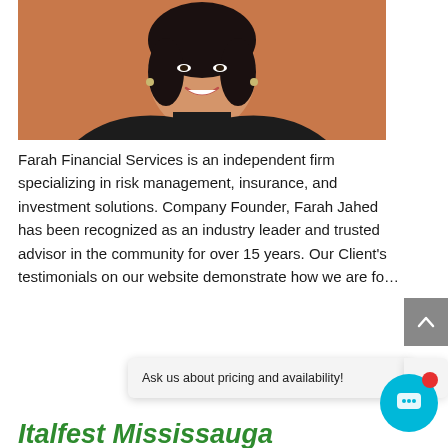[Figure (photo): Portrait photo of a woman (Farah Jahed) smiling, wearing a dark blazer with a necklace, against an orange/brown background]
Farah Financial Services is an independent firm specializing in risk management, insurance, and investment solutions. Company Founder, Farah Jahed has been recognized as an industry leader and trusted advisor in the community for over 15 years. Our Client's testimonials on our website demonstrate how we are fo...
Ask us about pricing and availability!
Italfest Mississauga